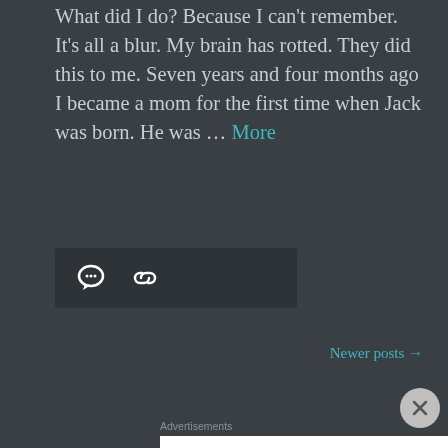What did I do? Because I can't remember. It's all a blur. My brain has rotted. They did this to me. Seven years and four months ago I became a mom for the first time when Jack was born. He was … More
[Figure (screenshot): Dark toolbar bar with chat bubble icon and link/chain icon on dark background]
Newer posts →
Advertisements
[Figure (screenshot): White advertisement box with bold serif text reading 'The first rule']
Advertisements
[Figure (screenshot): Green Jetpack advertisement banner with lightning bolt logo, 'Jetpack' text, and 'Secure Your Site' button]